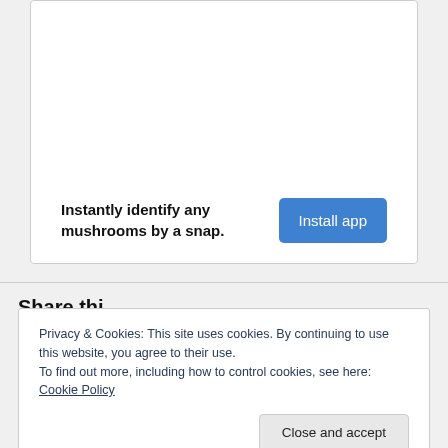Instantly identify any mushrooms by a snap.
Install app
Share thi…
Privacy & Cookies: This site uses cookies. By continuing to use this website, you agree to their use.
To find out more, including how to control cookies, see here: Cookie Policy
Close and accept